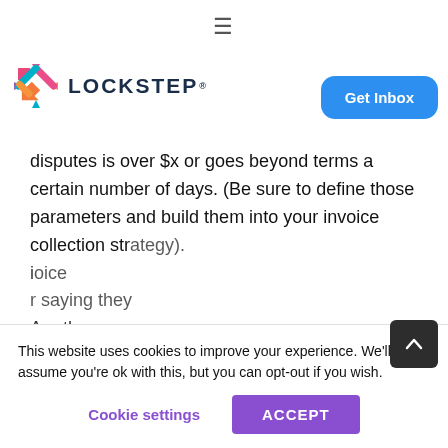≡
[Figure (logo): Lockstep logo: colorful X mark with LOCKSTEP® text in dark blue]
Get Inbox
disputes is over $x or goes beyond terms a certain number of days. (Be sure to define those parameters and build them into your invoice collection strategy). [partially obscured]... invoice ... saying they ... Are they ... the invoice? ... implement new procedures to prevent future
This website uses cookies to improve your experience. We'll assume you're ok with this, but you can opt-out if you wish.
Cookie settings
ACCEPT